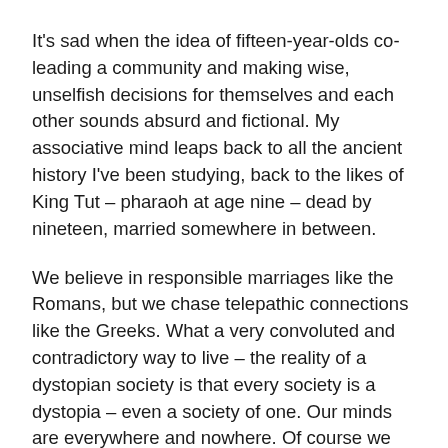It's sad when the idea of fifteen-year-olds co-leading a community and making wise, unselfish decisions for themselves and each other sounds absurd and fictional. My associative mind leaps back to all the ancient history I've been studying, back to the likes of King Tut – pharaoh at age nine – dead by nineteen, married somewhere in between.
We believe in responsible marriages like the Romans, but we chase telepathic connections like the Greeks. What a very convoluted and contradictory way to live – the reality of a dystopian society is that every society is a dystopia – even a society of one. Our minds are everywhere and nowhere. Of course we are in conflict.
I suppose you Literary Journal Monday followers got a little more than you bargained for this time around in this...